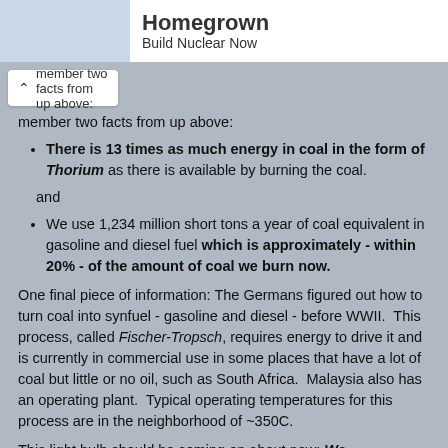Homegrown - Build Nuclear Now
member two facts from up above:
There is 13 times as much energy in coal in the form of Thorium as there is available by burning the coal.
and
We use 1,234 million short tons a year of coal equivalent in gasoline and diesel fuel which is approximately - within 20% - of the amount of coal we burn now.
One final piece of information: The Germans figured out how to turn coal into synfuel - gasoline and diesel - before WWII. This process, called Fischer-Tropsch, requires energy to drive it and is currently in commercial use in some places that have a lot of coal but little or no oil, such as South Africa. Malaysia also has an operating plant. Typical operating temperatures for this process are in the neighborhood of ~350C.
This light bulb should be coming on about now: We